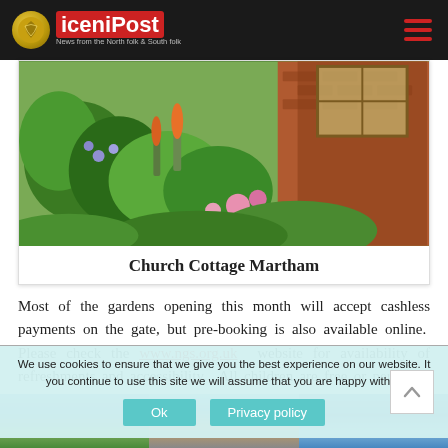iceniPost — News from the North folk & South folk
[Figure (photo): Garden photo of Church Cottage Martham showing colourful flowers, lush greenery, and a brick building with leaded windows in the background]
Church Cottage Martham
Most of the gardens opening this month will accept cashless payments on the gate, but pre-booking is also available online.  Please check the www.ngs.org.uk  website for availability of refreshments and accessibility.  All children are free or permitted admission with a donation.
We use cookies to ensure that we give you the best experience on our website. It you continue to use this site we will assume that you are happy with it.
Ok    Privacy policy
[Figure (photo): Bottom strip showing three thumbnail photos of gardens or outdoor scenes]